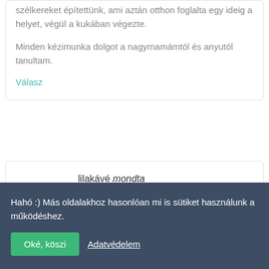szélkereket építettünk, ami aztán otthon foglalta egy ideig a helyet, végül a kukában végezte.

Minden kézimunka dolgot a nagymamámtól és anyutól tanultam.
Válasz
lilakávé mondta
2010. SZEPTEMBER 9.,
Hahó :) Más oldalakhoz hasonlóan mi is sütiket használunk a működéshez.
Oké, köszi   Adatvédelem